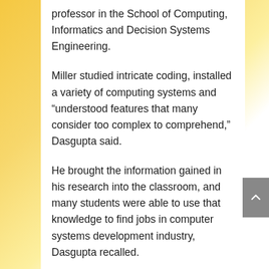professor in the School of Computing, Informatics and Decision Systems Engineering.
Miller studied intricate coding, installed a variety of computing systems and “understood features that many consider too complex to comprehend,” Dasgupta said.
He brought the information gained in his research into the classroom, and many students were able to use that knowledge to find jobs in computer systems development industry, Dasgupta recalled.
Before his time at ASU, Miller was an assistant professor of computer science at Washington State University, and had lectured and collaborated on projects with fellow engineers at the University of